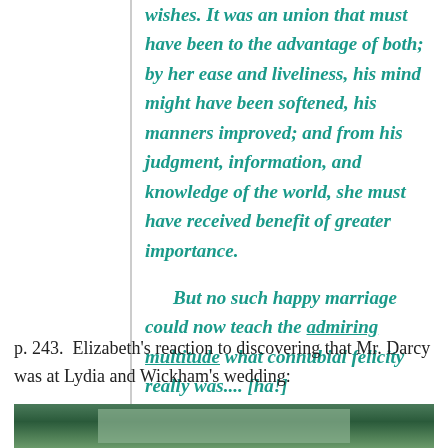wishes. It was an union that must have been to the advantage of both; by her ease and liveliness, his mind might have been softened, his manners improved; and from his judgment, information, and knowledge of the world, she must have received benefit of greater importance.

But no such happy marriage could now teach the admiring multitude what connubial felicity really was.... [ha!]
p. 243.  Elizabeth's reaction to discovering that Mr. Darcy was at Lydia and Wickham's wedding:
[Figure (photo): Partial view of a photo at the bottom of the page, appears to show an outdoor or nature scene]